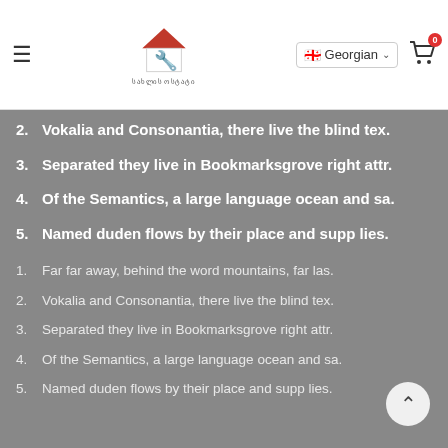Georgian
2. Vokalia and Consonantia, there live the blind tex.
3. Separated they live in Bookmarksgrove right attr.
4. Of the Semantics, a large language ocean and sa.
5. Named duden flows by their place and supp lies.
1. Far far away, behind the word mountains, far las.
2. Vokalia and Consonantia, there live the blind tex.
3. Separated they live in Bookmarksgrove right attr.
4. Of the Semantics, a large language ocean and sa.
5. Named duden flows by their place and supp lies.